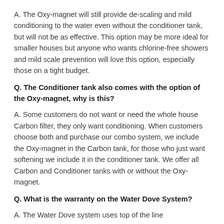A. The Oxy-magnet will still provide de-scaling and mild conditioning to the water even without the conditioner tank, but will not be as effective. This option may be more ideal for smaller houses but anyone who wants chlorine-free showers and mild scale prevention will love this option, especially those on a tight budget.
Q. The Conditioner tank also comes with the option of the Oxy-magnet, why is this?
A. Some customers do not want or need the whole house Carbon filter, they only want conditioning. When customers choose both and purchase our combo system, we include the Oxy-magnet in the Carbon tank, for those who just want softening we include it in the conditioner tank. We offer all Carbon and Conditioner tanks with or without the Oxy-magnet.
Q. What is the warranty on the Water Dove System?
A. The Water Dove system uses top of the line